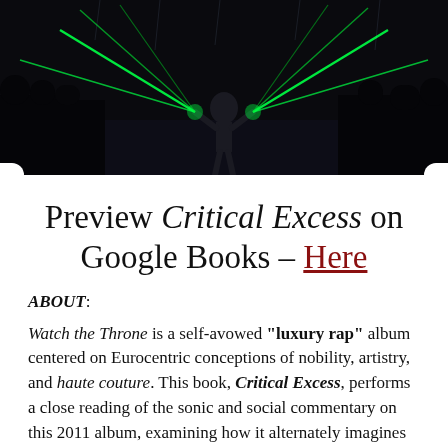[Figure (photo): Concert scene with a performer standing with arms raised amid green laser lights and a crowd of silhouetted people on a dark, rainy stage]
Preview Critical Excess on Google Books – Here
ABOUT:
Watch the Throne is a self-avowed "luxury rap" album centered on Eurocentric conceptions of nobility, artistry, and haute couture. This book, Critical Excess, performs a close reading of the sonic and social commentary on this 2011 album, examining how it alternately imagines and critiques the mutually